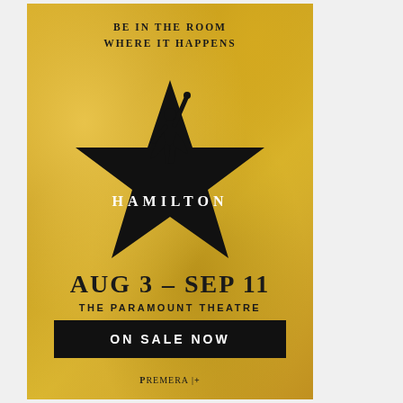[Figure (illustration): Hamilton musical promotional poster. Gold textured background with silhouette of a figure (Alexander Hamilton) standing on a large black five-pointed star with one arm raised. Text 'HAMILTON' appears in white serif letters across the center of the star.]
BE IN THE ROOM
WHERE IT HAPPENS
HAMILTON
AUG 3 – SEP 11
THE PARAMOUNT THEATRE
ON SALE NOW
PREMERA |+